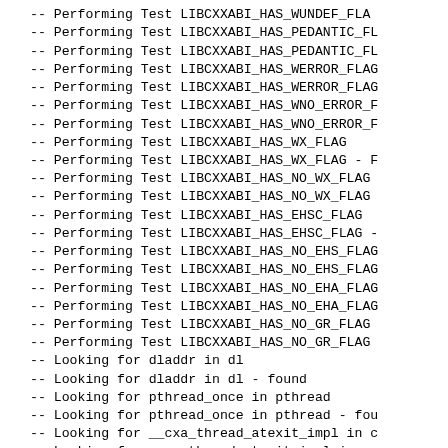-- Performing Test LIBCXXABI_HAS_WUNDEF_FLAG
-- Performing Test LIBCXXABI_HAS_PEDANTIC_FL
-- Performing Test LIBCXXABI_HAS_PEDANTIC_FL
-- Performing Test LIBCXXABI_HAS_WERROR_FLAG
-- Performing Test LIBCXXABI_HAS_WERROR_FLAG
-- Performing Test LIBCXXABI_HAS_WNO_ERROR_F
-- Performing Test LIBCXXABI_HAS_WNO_ERROR_F
-- Performing Test LIBCXXABI_HAS_WX_FLAG
-- Performing Test LIBCXXABI_HAS_WX_FLAG - F
-- Performing Test LIBCXXABI_HAS_NO_WX_FLAG
-- Performing Test LIBCXXABI_HAS_NO_WX_FLAG
-- Performing Test LIBCXXABI_HAS_EHSC_FLAG
-- Performing Test LIBCXXABI_HAS_EHSC_FLAG -
-- Performing Test LIBCXXABI_HAS_NO_EHS_FLAG
-- Performing Test LIBCXXABI_HAS_NO_EHS_FLAG
-- Performing Test LIBCXXABI_HAS_NO_EHA_FLAG
-- Performing Test LIBCXXABI_HAS_NO_EHA_FLAG
-- Performing Test LIBCXXABI_HAS_NO_GR_FLAG
-- Performing Test LIBCXXABI_HAS_NO_GR_FLAG
-- Looking for dladdr in dl
-- Looking for dladdr in dl - found
-- Looking for pthread_once in pthread
-- Looking for pthread_once in pthread - fou
-- Looking for __cxa_thread_atexit_impl in c
-- Looking for  cxa_thread_atexit_impl in